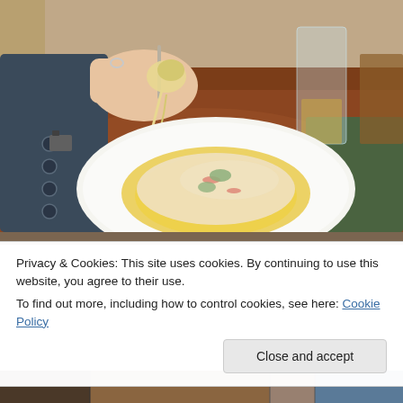[Figure (photo): A hand holding a piece of pasta on a fork over a white plate with pasta dish in yellow sauce, garnished with basil and red pepper, on a dark wooden table with a glass of drink in the background.]
Privacy & Cookies: This site uses cookies. By continuing to use this website, you agree to their use.
To find out more, including how to control cookies, see here: Cookie Policy
Close and accept
[Figure (photo): Partial view of a restaurant or dining scene, bottom strip.]